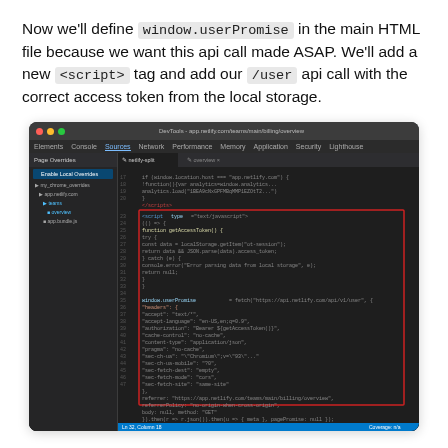Now we'll define window.userPromise in the main HTML file because we want this api call made ASAP. We'll add a new <script> tag and add our /user api call with the correct access token from the local storage.
[Figure (screenshot): Browser DevTools Sources panel showing JavaScript code with a red-bordered highlighted section containing window.userPromise fetch call with headers and options, in a dark-themed code editor.]